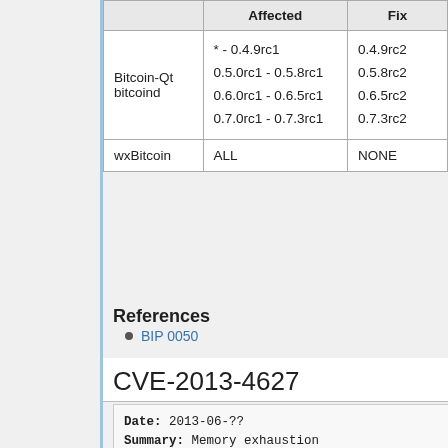|  | Affected | Fix |
| --- | --- | --- |
| Bitcoin-Qt
bitcoind | * - 0.4.9rc1
0.5.0rc1 - 0.5.8rc1
0.6.0rc1 - 0.6.5rc1
0.7.0rc1 - 0.7.3rc1 | 0.4.9rc2
0.5.8rc2
0.6.5rc2
0.7.3rc2 |
| wxBitcoin | ALL | NONE |
References
BIP 0050
CVE-2013-4627
Date: 2013-06-??
Summary: Memory exhaustion with excess tx message data